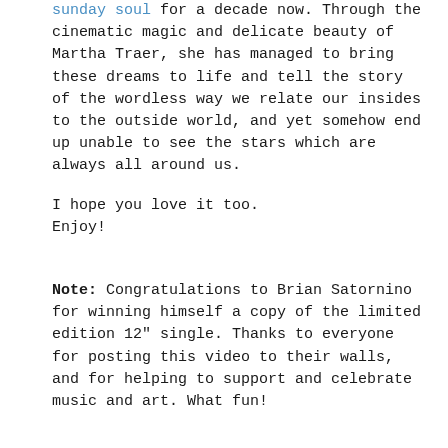sunday soul for a decade now. Through the cinematic magic and delicate beauty of Martha Traer, she has managed to bring these dreams to life and tell the story of the wordless way we relate our insides to the outside world, and yet somehow end up unable to see the stars which are always all around us.
I hope you love it too.
Enjoy!
Note: Congratulations to Brian Satornino for winning himself a copy of the limited edition 12" single. Thanks to everyone for posting this video to their walls, and for helping to support and celebrate music and art. What fun!